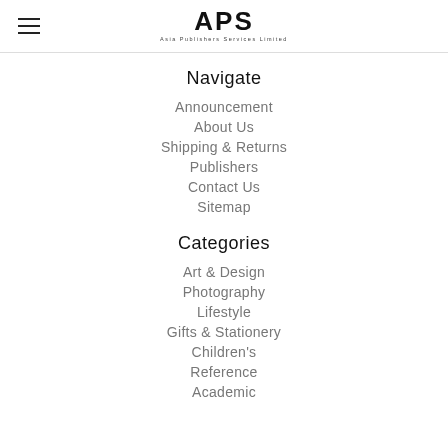APS Asia Publishers Services Limited
Navigate
Announcement
About Us
Shipping & Returns
Publishers
Contact Us
Sitemap
Categories
Art & Design
Photography
Lifestyle
Gifts & Stationery
Children's
Reference
Academic